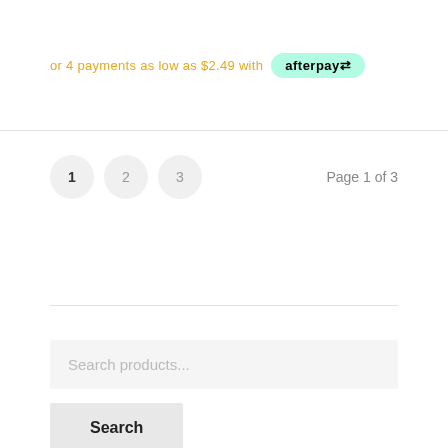or 4 payments as low as $2.49 with afterpay
1 2 3  Page 1 of 3
Search products...
Search